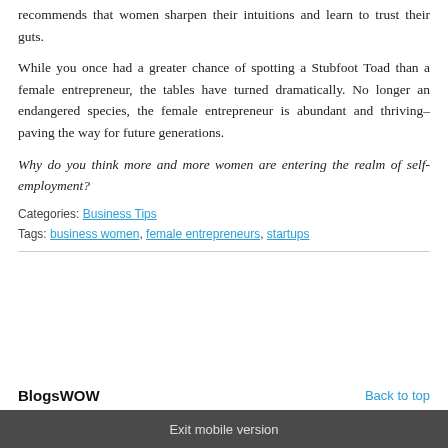recommends that women sharpen their intuitions and learn to trust their guts.
While you once had a greater chance of spotting a Stubfoot Toad than a female entrepreneur, the tables have turned dramatically. No longer an endangered species, the female entrepreneur is abundant and thriving–paving the way for future generations.
Why do you think more and more women are entering the realm of self-employment?
Categories: Business Tips
Tags: business women, female entrepreneurs, startups
BlogsWOW   Back to top
Exit mobile version